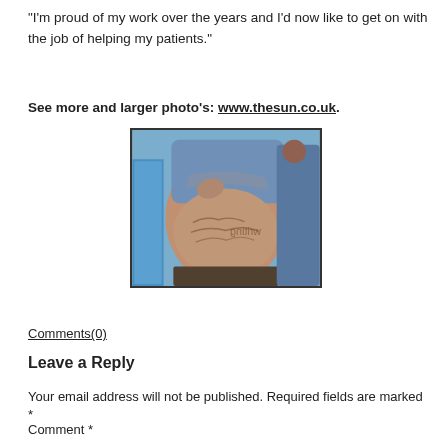“I’m proud of my work over the years and I’d now like to get on with the job of helping my patients.”
See more and larger photo’s: www.thesun.co.uk.
[Figure (photo): A person lifting their shirt to reveal writing on their abdomen, standing outdoors near blue structures.]
Comments(0)
Leave a Reply
Your email address will not be published. Required fields are marked *
Comment *